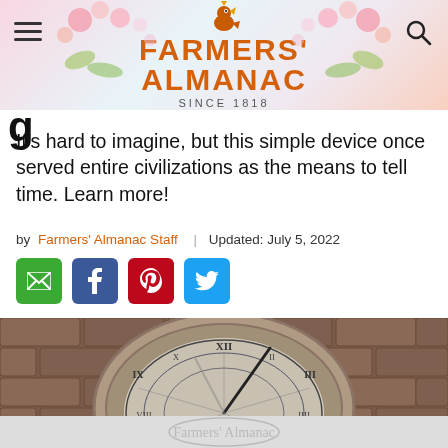FARMERS' ALMANAC SINCE 1818
It's hard to imagine, but this simple device once served entire civilizations as the means to tell time. Learn more!
by Farmers' Almanac Staff | Updated: July 5, 2022
[Figure (illustration): Social sharing buttons: email (green), Facebook (blue), Pinterest (red), Twitter (light blue)]
[Figure (photo): A decorative sundial with Roman numerals and a gnomon casting shadow, surrounded by stone brick border]